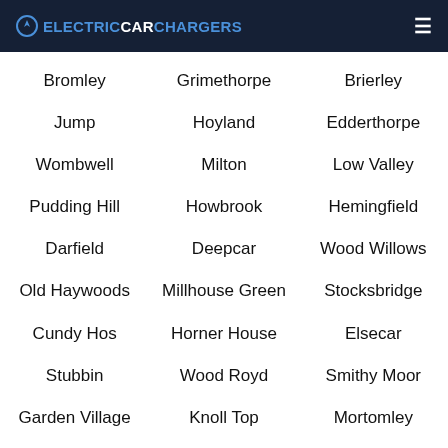ELECTRICCARCHARGERS
Bromley
Grimethorpe
Brierley
Jump
Hoyland
Edderthorpe
Wombwell
Milton
Low Valley
Pudding Hill
Howbrook
Hemingfield
Darfield
Deepcar
Wood Willows
Old Haywoods
Millhouse Green
Stocksbridge
Cundy Hos
Horner House
Elsecar
Stubbin
Wood Royd
Smithy Moor
Garden Village
Knoll Top
Mortomley